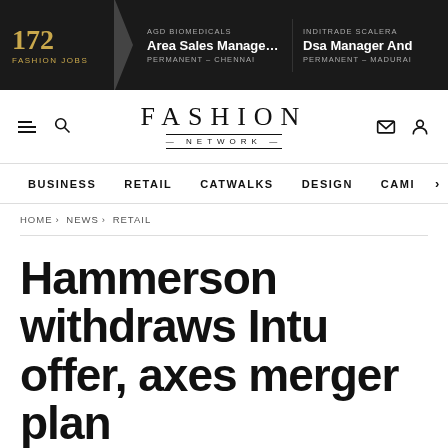172 FASHION JOBS | AGD BIOMEDICALS Area Sales Manager - ... PERMANENT - CHENNAI | INDITRADE SCALERA Dsa Manager And PERMANENT - MADURAI
[Figure (logo): Fashion Network logo with navigation icons (menu, search, envelope, user)]
BUSINESS | RETAIL | CATWALKS | DESIGN | CAMI >
HOME › NEWS › RETAIL
Hammerson withdraws Intu offer, axes merger plan